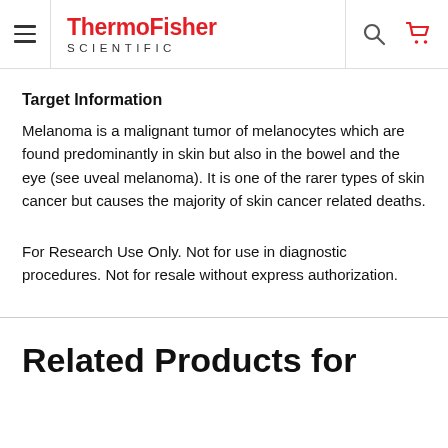ThermoFisher SCIENTIFIC
Target Information
Melanoma is a malignant tumor of melanocytes which are found predominantly in skin but also in the bowel and the eye (see uveal melanoma). It is one of the rarer types of skin cancer but causes the majority of skin cancer related deaths.
For Research Use Only. Not for use in diagnostic procedures. Not for resale without express authorization.
Related Products for